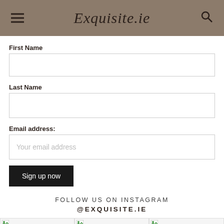Exquisite.ie
First Name
Last Name
Email address:
Your email address
Sign up now
FOLLOW US ON INSTAGRAM
@EXQUISITE.IE
[Figure (photo): Three Instagram image thumbnails at the bottom of the page]
[Figure (photo): Second Instagram image thumbnail]
[Figure (photo): Third Instagram image thumbnail]